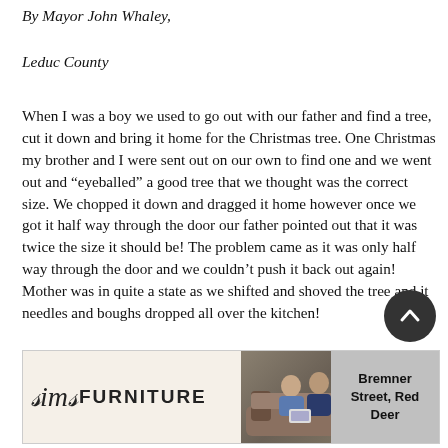By Mayor John Whaley,
Leduc County
When I was a boy we used to go out with our father and find a tree, cut it down and bring it home for the Christmas tree. One Christmas my brother and I were sent out on our own to find one and we went out and “eyeballed” a good tree that we thought was the correct size. We chopped it down and dragged it home however once we got it half way through the door our father pointed out that it was twice the size it should be! The problem came as it was only half way through the door and we couldn’t push it back out again! Mother was in quite a state as we shifted and shoved the tree and it needles and boughs dropped all over the kitchen!
[Figure (other): Sims Furniture advertisement banner with logo, photo of two people on a couch, and address: Bremner Street, Red Deer]